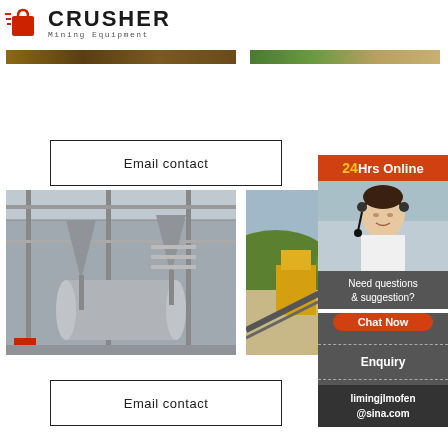[Figure (logo): CRUSHER Mining Equipment logo with red shopping bag icon and bold text]
[Figure (photo): Top strip image: left portion showing brownish terrain/material, right portion showing green/yellow landscape]
Email contact
[Figure (photo): Industrial machinery interior showing large cylindrical mills and steel framework in a factory]
[Figure (photo): Outdoor mining/quarrying site with heavy equipment and conveyors]
[Figure (photo): 24Hrs Online sidebar panel with customer service representative wearing headset, chat button, enquiry section and email limingjlmofen@sina.com]
Email contact